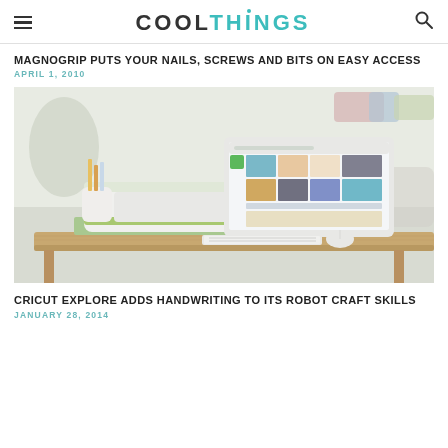COOLTHINGS
MAGNOGRIP PUTS YOUR NAILS, SCREWS AND BITS ON EASY ACCESS
APRIL 1, 2010
[Figure (photo): A Cricut Explore cutting machine on a wooden desk next to a computer monitor displaying a craft website, with a pencil holder and keyboard visible.]
CRICUT EXPLORE ADDS HANDWRITING TO ITS ROBOT CRAFT SKILLS
JANUARY 28, 2014